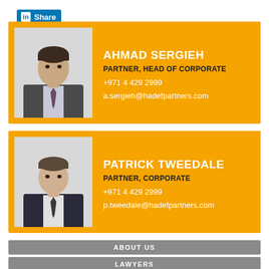[Figure (logo): LinkedIn Share button with 'in' logo and 'Share' text on blue background]
[Figure (photo): Professional headshot of Ahmad Sergieh, male, dark hair, wearing dark suit and tie]
AHMAD SERGIEH
PARTNER, HEAD OF CORPORATE
+971 4 429 2999
a.sergieh@hadefpartners.com
[Figure (photo): Professional headshot of Patrick Tweedale, male, wearing dark suit and tie]
PATRICK TWEEDALE
PARTNER, CORPORATE
+971 4 429 2999
p.tweedale@hadefpartners.com
ABOUT US
LAWYERS